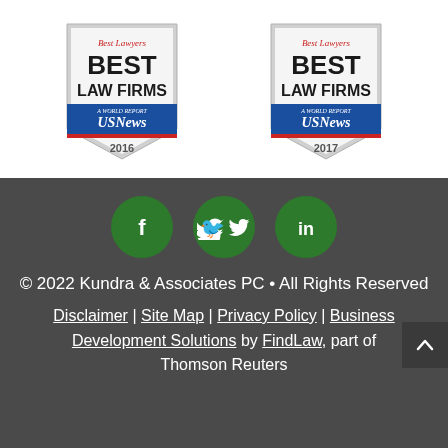[Figure (logo): Best Lawyers Best Law Firms US News & World Report 2016 badge]
[Figure (logo): Best Lawyers Best Law Firms US News & World Report 2017 badge]
[Figure (illustration): Social media icons: Facebook (f), Twitter (bird), LinkedIn (in) — green circles]
© 2022 Kundra & Associates PC • All Rights Reserved
Disclaimer | Site Map | Privacy Policy | Business Development Solutions by FindLaw, part of Thomson Reuters